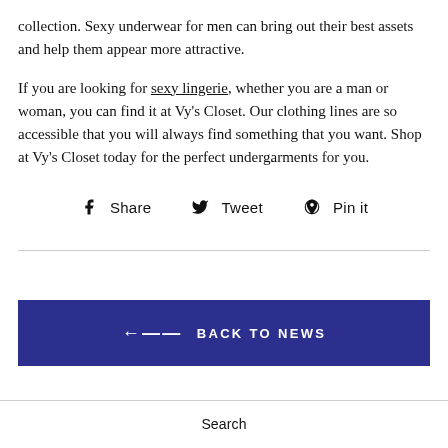collection. Sexy underwear for men can bring out their best assets and help them appear more attractive.
If you are looking for sexy lingerie, whether you are a man or woman, you can find it at Vy’s Closet. Our clothing lines are so accessible that you will always find something that you want. Shop at Vy’s Closet today for the perfect undergarments for you.
Share  Tweet  Pin it
← BACK TO NEWS
Search